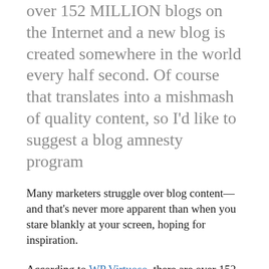over 152 MILLION blogs on the Internet and a new blog is created somewhere in the world every half second. Of course that translates into a mishmash of quality content, so I'd like to suggest a blog amnesty program
Many marketers struggle over blog content—and that's never more apparent than when you stare blankly at your screen, hoping for inspiration.
According to WP Virtuoso, there are over 152 MILLION blogs on the Internet and a new blog is created somewhere in the world every half second. Of course that translates into a mishmash of quality content, so I'd like to suggest a